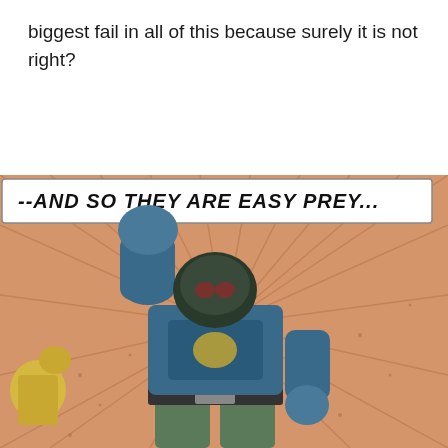biggest fail in all of this because surely it is not right?
[Figure (illustration): Vintage comic book panel showing a large muscular villain in blue armor raising a fist overhead, with a speech/caption box at the top reading '--AND SO THEY ARE EASY PREY...' in bold italic text. The background has radiating lines and an orange/peach tone. A smaller yellow-costumed figure is visible on the left.]